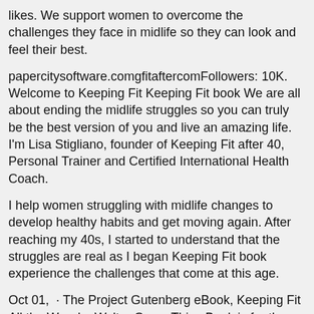likes. We support women to overcome the challenges they face in midlife so they can look and feel their best.
papercitysoftware.comgfitaftercomFollowers: 10K. Welcome to Keeping Fit Keeping Fit book We are all about ending the midlife struggles so you can truly be the best version of you and live an amazing life. I'm Lisa Stigliano, founder of Keeping Fit after 40, Personal Trainer and Certified International Health Coach.
I help women struggling with midlife changes to develop healthy habits and get moving again. After reaching my 40s, I started to understand that the struggles are real as I began Keeping Fit book experience the challenges that come at this age.
Oct 01,  · The Project Gutenberg eBook, Keeping Fit All the Way, by Walter Camp This eBook is for the use of anyone anywhere at no cost and with almost no restrictions whatsoever. You may copy it, give it away or re-use it under the terms of the Project Gutenberg License included with this eBook or online at papercitysoftware.com Title: Keeping Fit All the Way.
Feb 22,  · This Book will Change Your Mind About Mental Health debunks myths, challenges assumptions and offers